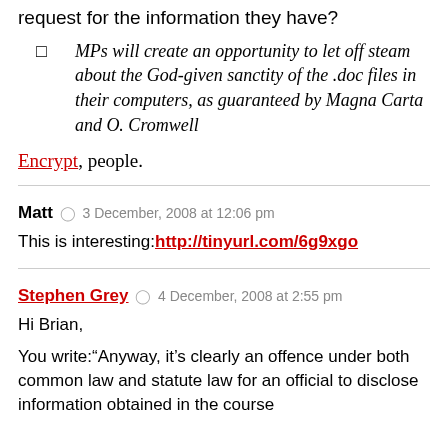request for the information they have?
MPs will create an opportunity to let off steam about the God-given sanctity of the .doc files in their computers, as guaranteed by Magna Carta and O. Cromwell
Encrypt, people.
Matt  3 December, 2008 at 12:06 pm
This is interesting:http://tinyurl.com/6g9xgo
Stephen Grey  4 December, 2008 at 2:55 pm
Hi Brian,
You write:“Anyway, it’s clearly an offence under both common law and statute law for an official to disclose information obtained in the course